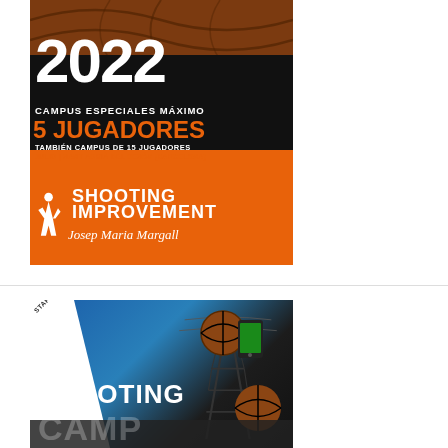[Figure (illustration): Basketball camp advertisement poster for 2022. Black and orange background with basketball texture. Large white '2022' text, text reading 'CAMPUS ESPECIALES MÁXIMO', '5 JUGADORES' in orange, 'TAMBIÉN CAMPUS DE 15 JUGADORES', 'JULIO | SANT ADRIÀ DEL BESÒS (BARCELONA)'. Orange lower section with basketball player silhouette and 'SHOOTING IMPROVEMENT Josep Maria Margall' text.]
[Figure (illustration): Shooting Camp advertisement. Blue background with power tower/pylon, basketball, smartphone. White diagonal slash with 'STAFF NBA Y ACB' text. Large white 'SHOOTING' and partially visible 'CAMP' text at bottom.]